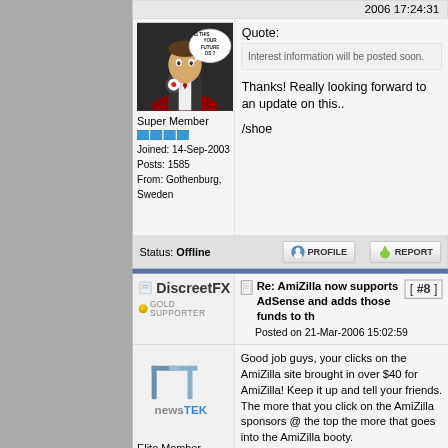2006 17:24:31
[Figure (photo): Avatar image of a man in suit with speech bubble saying 'IS THIS YOUR FUTURE OS?']
Super Member
Joined: 14-Sep-2003
Posts: 1585
From: Gothenburg, Sweden
Quote:
Interest information will be posted soon.
Thanks! Really looking forward to an update on this..

/shoe
Status: Offline
[Figure (illustration): PROFILE button with person icon]
[Figure (illustration): REPORT button with icon]
DiscreetFX
GOLD SUPPORTER
Re: AmiZilla now supports AdSense and adds those funds to th
Posted on 21-Mar-2006 15:02:59
[ #8 ]
[Figure (logo): NewsTek logo with stylized double-T mark and text 'newsTEK']
Elite Member
Good job guys, your clicks on the AmiZilla site brought in over $40 for AmiZilla! Keep it up and tell your friends. The more that you click on the AmiZilla sponsors @ the top the more that goes into the AmiZilla booty.